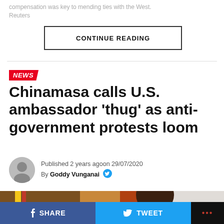compensation was key to mending ties with the West. Reuters
CONTINUE READING
NEWS
Chinamasa calls U.S. ambassador 'thug' as anti-government protests loom
Published 2 years agoon 29/07/2020 By Goddy Vunganai
[Figure (photo): Photo of a person, partially visible, against a light background with a colorful flag.]
SHARE   TWEET   ...